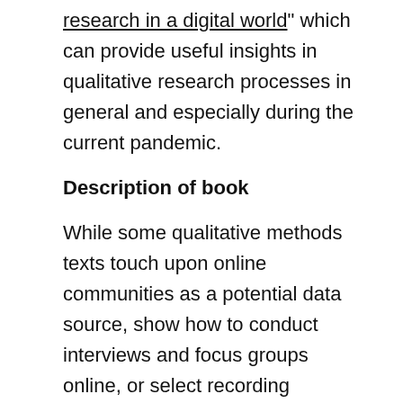research in a digital world" which can provide useful insights in qualitative research processes in general and especially during the current pandemic.
Description of book
While some qualitative methods texts touch upon online communities as a potential data source, show how to conduct interviews and focus groups online, or select recording devices and analysis software, no book to date has guided readers in the creation of a comprehensive digital workflow for their research. By working through each chapter in this book, readers will be able to generate a unique digital workflow for designing and implementing their research. The book provides